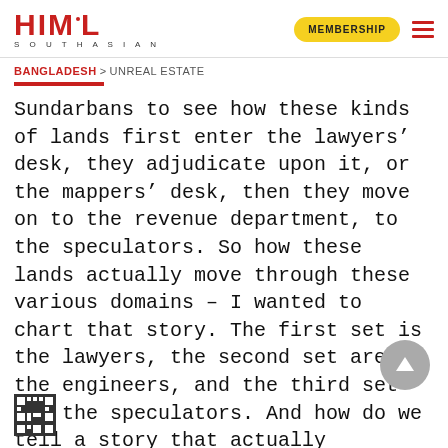HIMAL SOUTHASIAN | MEMBERSHIP
BANGLADESH > UNREAL ESTATE
Sundarbans to see how these kinds of lands first enter the lawyers’ desk, they adjudicate upon it, or the mappers’ desk, then they move on to the revenue department, to the speculators. So how these lands actually move through these various domains – I wanted to chart that story. The first set is the lawyers, the second set are the engineers, and the third set are the speculators. And how do we tell a story that actually involves these three kinds of domains?